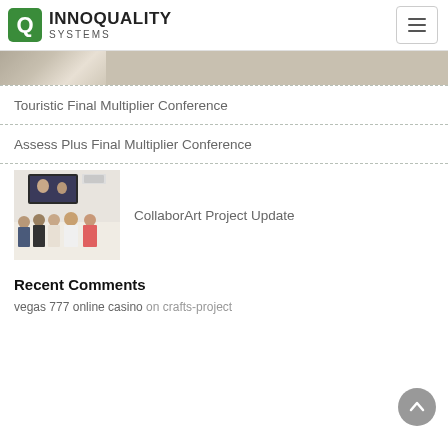[Figure (logo): InnoQuality Systems logo with green Q-icon and hamburger menu button]
[Figure (photo): Partial top image showing documents/papers, cropped]
Touristic Final Multiplier Conference
Assess Plus Final Multiplier Conference
[Figure (photo): Group photo of six people standing in front of a TV screen showing video call, indoors]
CollaborArt Project Update
Recent Comments
vegas 777 online casino on crafts-project